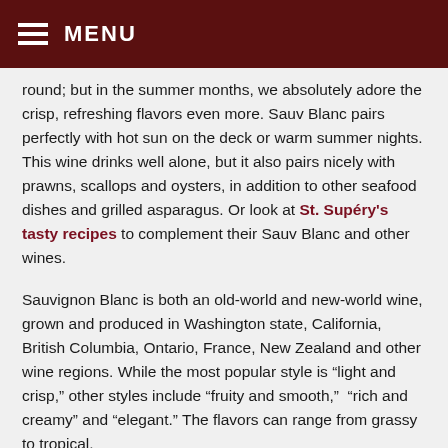MENU
round; but in the summer months, we absolutely adore the crisp, refreshing flavors even more. Sauv Blanc pairs perfectly with hot sun on the deck or warm summer nights. This wine drinks well alone, but it also pairs nicely with prawns, scallops and oysters, in addition to other seafood dishes and grilled asparagus. Or look at St. Supéry's tasty recipes to complement their Sauv Blanc and other wines.
Sauvignon Blanc is both an old-world and new-world wine, grown and produced in Washington state, California, British Columbia, Ontario, France, New Zealand and other wine regions. While the most popular style is “light and crisp,” other styles include “fruity and smooth,”  “rich and creamy” and “elegant.” The flavors can range from grassy to tropical.
St. Supéry 2019 Napa Valley Estate Sauvignon Blanc
[Figure (other): Image placeholder box at bottom of page]